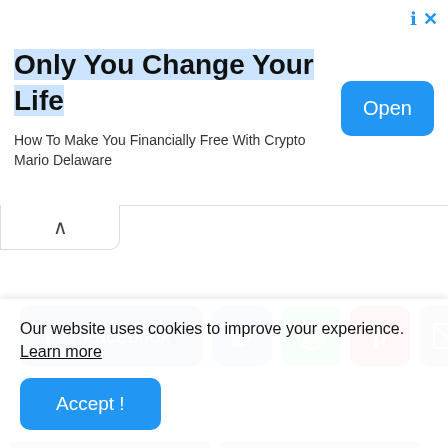[Figure (screenshot): Advertisement banner: 'Only You Change Your Life' with subtitle 'How To Make You Financially Free With Crypto Mario Delaware' and an 'Open' button]
[Figure (screenshot): Collapse/minimize tab with upward chevron arrow]
[Figure (screenshot): Social share buttons: Facebook, Twitter, WhatsApp, Pinterest, Email, and More (+)]
You might like ›
[Figure (screenshot): Two card thumbnails with green overlay text 'Make money online with your mobile phone Earn $200']
Our website uses cookies to improve your experience. Learn more
[Figure (screenshot): Accept! button in blue]